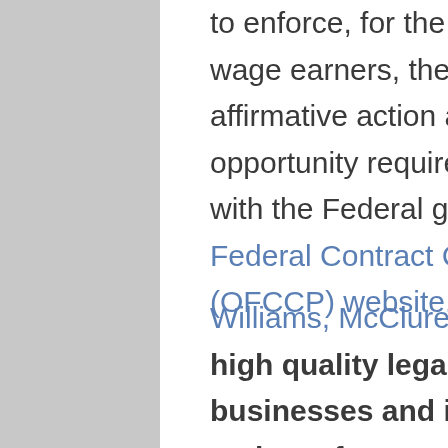to enforce, for the benefit of job seekers and wage earners, the contractual promise of affirmative action and equal employment opportunity required of those who do business with the Federal government, visit the Office of Federal Contract Compliance Programs (OFCCP) website.
Williams, McClure & Parmelee is dedicated to high quality legal representation of businesses and insurance companies in a variety of matters. We are conveniently located in Fort Worth...